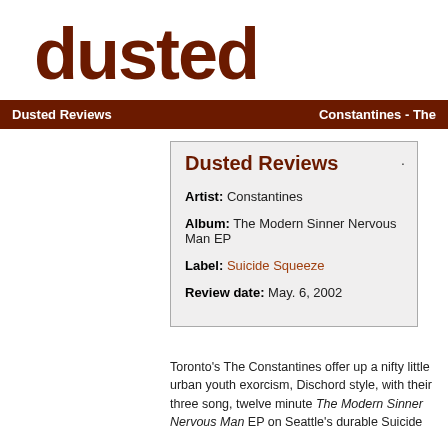dusted
Dusted Reviews    Constantines - The
Dusted Reviews
Artist: Constantines
Album: The Modern Sinner Nervous Man EP
Label: Suicide Squeeze
Review date: May. 6, 2002
Toronto's The Constantines offer up a nifty little urban youth exorcism, Dischord style, with their three song, twelve minute The Modern Sinner Nervous Man EP on Seattle's durable Suicide Squeeze, the future of li...